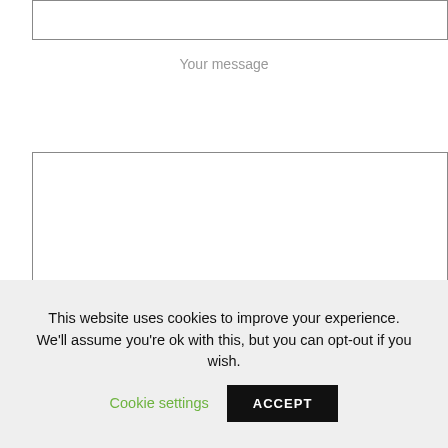[Figure (screenshot): A text input box (empty, with border) at the top of a web form.]
Your message
[Figure (screenshot): A large textarea (message input box with border) for the user to type their message. Has a resize handle at bottom-right and a send button.]
This website uses cookies to improve your experience. We'll assume you're ok with this, but you can opt-out if you wish.
Cookie settings
ACCEPT